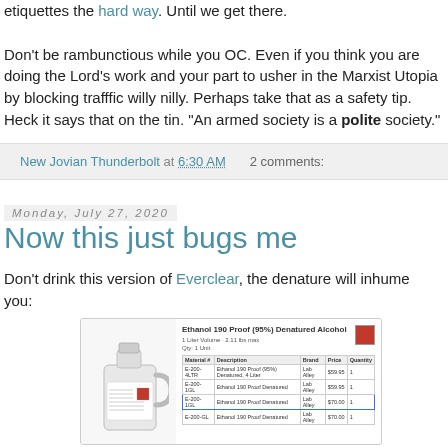etiquettes the hard way.  Until we get there.

Don't be rambunctious while you OC.  Even if you think you are doing the Lord's work and your part to usher in the Marxist Utopia by blocking trafffic willy nilly.  Perhaps take that as a safety tip.  Heck it says that on the tin. "An armed society is a polite society."
New Jovian Thunderbolt at 6:30 AM    2 comments:
Monday, July 27, 2020
Now this just bugs me
Don't drink this version of Everclear, the denature will inhume you:
[Figure (photo): Product image of a gallon jug of Ethanol 190 Proof (95%) Denatured Alcohol with a product detail/specification sheet showing product table with item numbers, descriptions, brand, price, and quantity columns. One row is circled in blue.]